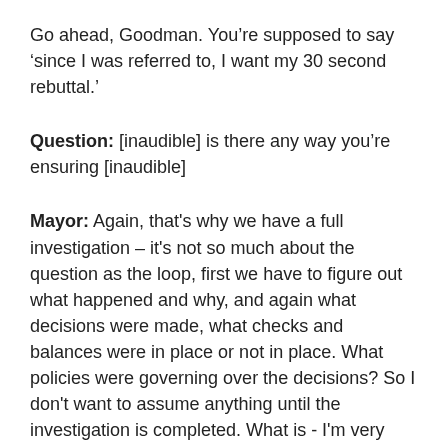Go ahead, Goodman. You’re supposed to say ‘since I was referred to, I want my 30 second rebuttal.’
Question: [inaudible] is there any way you’re ensuring [inaudible]
Mayor: Again, that’s why we have a full investigation – it’s not so much about the question as the loop, first we have to figure out what happened and why, and again what decisions were made, what checks and balances were in place or not in place. What policies were governing over the decisions? So I don’t want to assume anything until the investigation is completed. What is - I’m very proud of being a hands-on leader, and what this is further evidence of is when in doubt on something that’s truly consequential – I consider this truly consequential – people in agencies should seek the guidance of City Hall, and if it’s something important it should come to me as well. Now, it’s a huge government, so there’s plenty of things that don’t rise to that level obviously. But this one